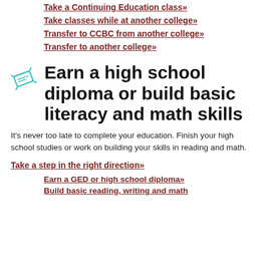Take a Continuing Education class»
Take classes while at another college»
Transfer to CCBC from another college»
Transfer to another college»
🎓 Earn a high school diploma or build basic literacy and math skills
It's never too late to complete your education. Finish your high school studies or work on building your skills in reading and math.
Take a step in the right direction»
Earn a GED or high school diploma»
Build basic reading, writing and math